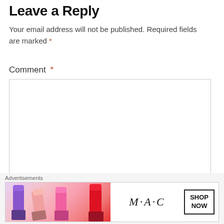Leave a Reply
Your email address will not be published. Required fields are marked *
Comment *
[Figure (screenshot): Empty comment text area input box with border]
[Figure (illustration): MAC Cosmetics advertisement banner showing lipsticks in purple, pink, and red colors with MAC logo and SHOP NOW button]
Advertisements